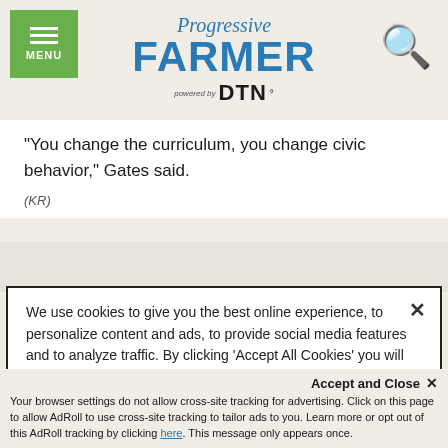Progressive FARMER powered by DTN
"You change the curriculum, you change civic behavior," Gates said.
(KR)
We use cookies to give you the best online experience, to personalize content and ads, to provide social media features and to analyze traffic. By clicking 'Accept All Cookies' you will allow the use of these cookies. Your settings can be changed, including withdrawing your consent at any time, by clicking 'Cookie Settings'. Find out more on how we and third parties use cookies in our Cookie Policy
Accept and Close ✕
Your browser settings do not allow cross-site tracking for advertising. Click on this page to allow AdRoll to use cross-site tracking to tailor ads to you. Learn more or opt out of this AdRoll tracking by clicking here. This message only appears once.